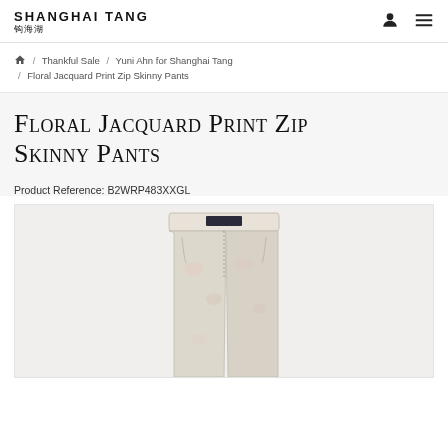SHANGHAI TANG
Home / Thankful Sale / Yuni Ahn for Shanghai Tang / Floral Jacquard Print Zip Skinny Pants
Floral Jacquard Print Zip Skinny Pants
Product Reference: B2WRP483XXGL
[Figure (photo): Product photo of Floral Jacquard Print Zip Skinny Pants — light-colored skinny pants with floral jacquard print, partial view showing waistband and upper portion]